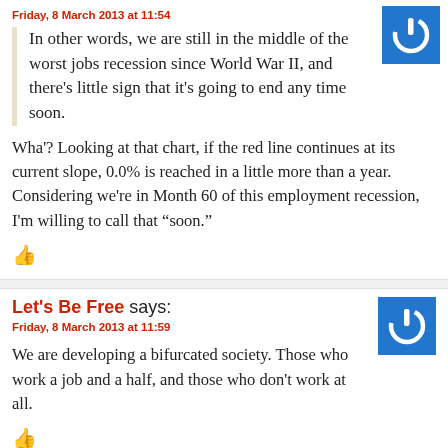Friday, 8 March 2013 at 11:54
In other words, we are still in the middle of the worst jobs recession since World War II, and there's little sign that it's going to end any time soon.
Wha'? Looking at that chart, if the red line continues at its current slope, 0.0% is reached in a little more than a year. Considering we're in Month 60 of this employment recession, I'm willing to call that “soon.”
[Figure (logo): Blue square with white power button icon (avatar)]
Let's Be Free says:
Friday, 8 March 2013 at 11:59
We are developing a bifurcated society. Those who work a job and a half, and those who don't work at all.
[Figure (logo): Blue square with white power button icon (avatar)]